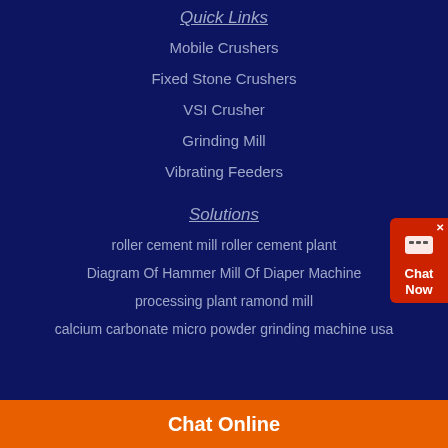Quick Links
Mobile Crushers
Fixed Stone Crushers
VSI Crusher
Grinding Mill
Vibrating Feeders
Solutions
roller cement mill roller cement plant
Diagram Of Hammer Mill Of Diaper Machine
processing plant ramond mill
calcium carbonate micro powder grinding machine usa
Chat Online